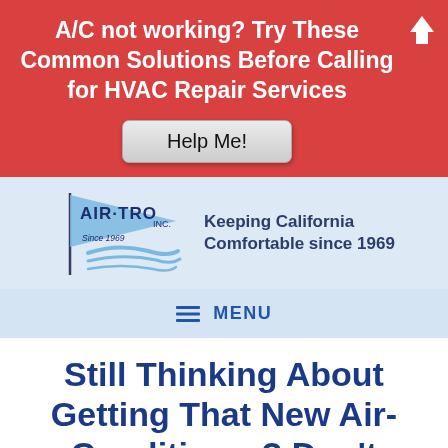A/C not working? Try These Common Solutions Before Calling for HVAC Repair Services
[Figure (screenshot): Help Me! button with light gray gradient background and rounded corners]
[Figure (logo): Air-Tro Inc. logo with pennant flag and wind swirl, 'Since 1969' text]
Keeping California Comfortable since 1969
MENU
Still Thinking About Getting That New Air-Conditioner? Don't Forget